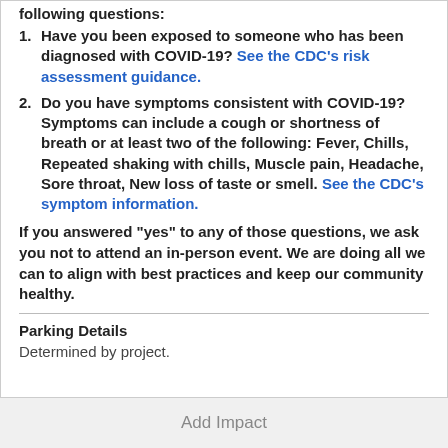following questions:
Have you been exposed to someone who has been diagnosed with COVID-19? See the CDC's risk assessment guidance.
Do you have symptoms consistent with COVID-19? Symptoms can include a cough or shortness of breath or at least two of the following: Fever, Chills, Repeated shaking with chills, Muscle pain, Headache, Sore throat, New loss of taste or smell. See the CDC's symptom information.
If you answered "yes" to any of those questions, we ask you not to attend an in-person event. We are doing all we can to align with best practices and keep our community healthy.
Parking Details
Determined by project.
Add Impact